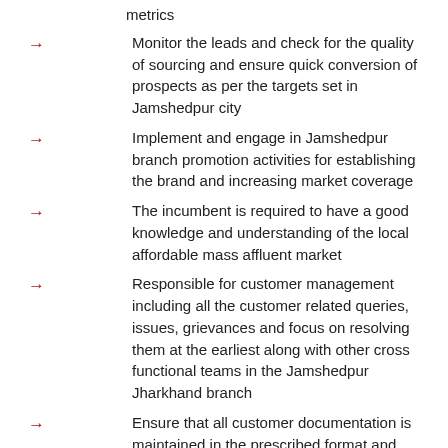metrics
Monitor the leads and check for the quality of sourcing and ensure quick conversion of prospects as per the targets set in Jamshedpur city
Implement and engage in Jamshedpur branch promotion activities for establishing the brand and increasing market coverage
The incumbent is required to have a good knowledge and understanding of the local affordable mass affluent market
Responsible for customer management including all the customer related queries, issues, grievances and focus on resolving them at the earliest along with other cross functional teams in the Jamshedpur Jharkhand branch
Ensure that all customer documentation is maintained in the prescribed format and transfer of documents is done safely and seamlessly
Provide market feedback on product offerings, channels and processes to the senior levels to improve the same